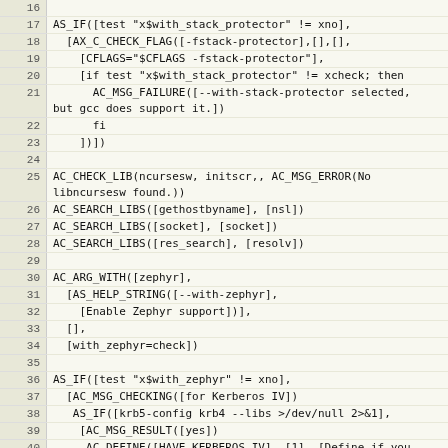Code listing lines 16-45 of a configure.ac autoconf script showing stack protector check, library checks, AC_ARG_WITH for zephyr, and Kerberos IV detection logic.